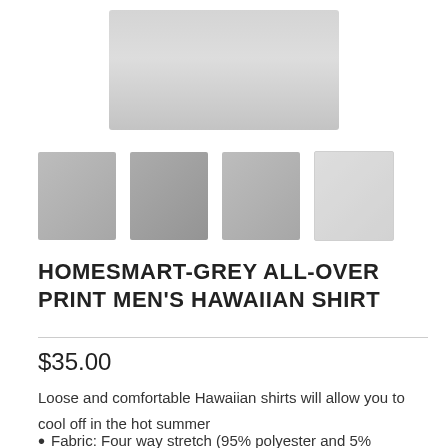[Figure (photo): Product photo of a dark grey Hawaiian shirt worn by a man, shown cropped at torso level, blurred/obscured face area]
[Figure (photo): Four product thumbnail images: three showing a male model wearing a dark grey all-over print Hawaiian shirt from different angles, and one showing a size chart image]
HOMESMART-GREY ALL-OVER PRINT MEN'S HAWAIIAN SHIRT
$35.00
Loose and comfortable Hawaiian shirts will allow you to cool off in the hot summer
Fabric: Four way stretch (95% polyester and 5%